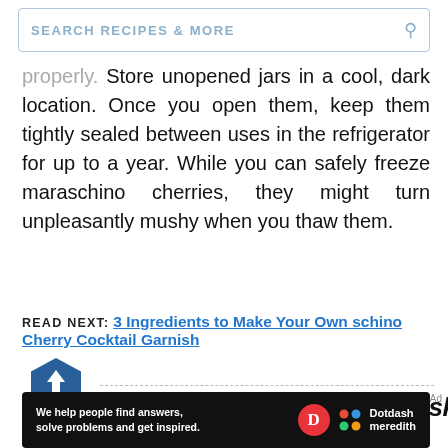SEARCH RECIPES & MORE
properly. Store unopened jars in a cool, dark location. Once you open them, keep them tightly sealed between uses in the refrigerator for up to a year. While you can safely freeze maraschino cherries, they might turn unpleasantly mushy when you thaw them.
READ NEXT: 3 Ingredients to Make Your Own schino Cherry Cocktail Garnish
[Figure (other): Back to top button — dark blue hexagon with upward arrow, labeled BACK TO TOP]
Watch Now: A Perfect Whiskey
[Figure (other): Dotdash Meredith advertisement banner: 'We help people find answers, solve problems and get inspired.' with Dotdash Meredith logo on black background]